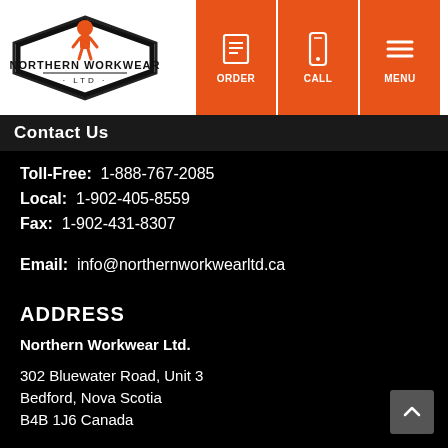[Figure (logo): Northern Workwear Ltd. diamond-shaped logo with orange worker figure]
[Figure (infographic): Three orange navigation buttons: ORDER (clipboard icon), CALL (phone icon), MENU (hamburger icon)]
Contact Us
Toll-Free: 1-888-767-2085
Local: 1-902-405-8559
Fax: 1-902-431-8307
Email: info@northernworkwearltd.ca
ADDRESS
Northern Workwear Ltd.
302 Bluewater Road, Unit 3
Bedford, Nova Scotia
B4B 1J6 Canada